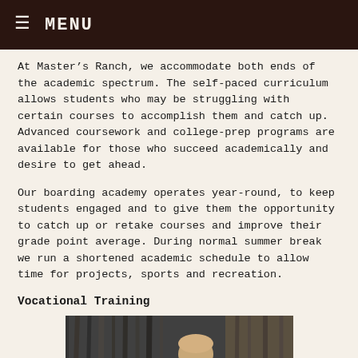MENU
At Master’s Ranch, we accommodate both ends of the academic spectrum. The self-paced curriculum allows students who may be struggling with certain courses to accomplish them and catch up. Advanced coursework and college-prep programs are available for those who succeed academically and desire to get ahead.
Our boarding academy operates year-round, to keep students engaged and to give them the opportunity to catch up or retake courses and improve their grade point average. During normal summer break we run a shortened academic schedule to allow time for projects, sports and recreation.
Vocational Training
[Figure (photo): A student working on a vocational/woodworking project, partially visible at the bottom of the page]